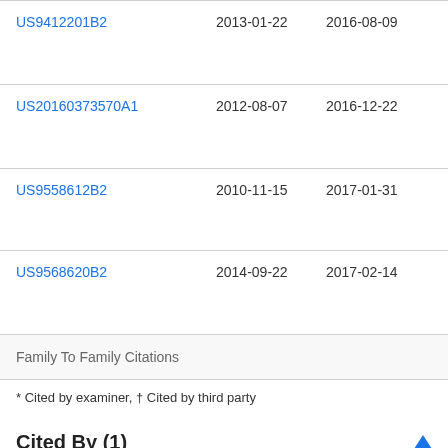| Publication number | Priority date | Publication date | Assignee |
| --- | --- | --- | --- |
| US9412201B2 | 2013-01-22 | 2016-08-09 | Mic... Tec... Lic... |
| US20160373570A1 | 2012-08-07 | 2016-12-22 | Mic... Tec... Lic... |
| US9558612B2 | 2010-11-15 | 2017-01-31 | Bal... Inc... |
| US9568620B2 | 2014-09-22 | 2017-02-14 | Ge... Ele... Cor... |
| Family To Family Citations |  |  |  |
* Cited by examiner, † Cited by third party
Cited By (1)
| Publication number | Priority date | Publication date | Assignee |
| --- | --- | --- | --- |